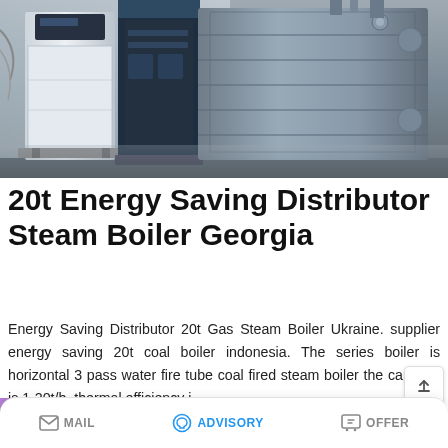[Figure (photo): Industrial steam boiler units in a facility — white/dark boiler on left, large cylindrical boiler on right]
20t Energy Saving Distributor Steam Boiler Georgia
Energy Saving Distributor 20t Gas Steam Boiler Ukraine. supplier energy saving 20t coal boiler indonesia. The series boiler is horizontal 3 pass water fire tube coal fired steam boiler the capacity is 1-20t/h. thermal efficiency i…
MAIL   ADVISORY   OFFER